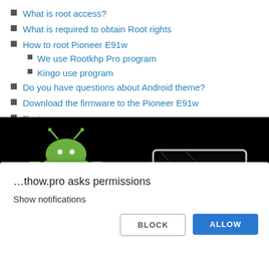What is root access?
What is required to obtain Root rights
How to root Pioneer E91w
We use Rootkhp Pro program
Kingo use program
Do you have questions about Android theme?
Download the firmware to the Pioneer E91w
Reviews
[Figure (screenshot): Android robot mascot on black background with a device outline to the right, showing a rooting/firmware screen]
…thow.pro asks permissions
Show notifications
BLOCK
ALLOW